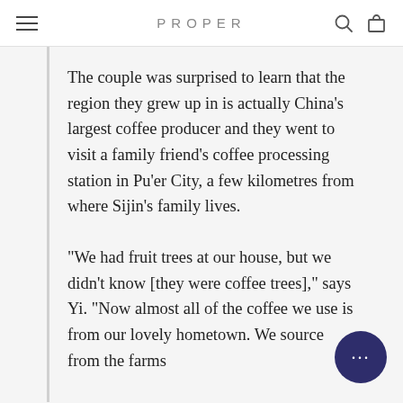PROPER
The couple was surprised to learn that the region they grew up in is actually China's largest coffee producer and they went to visit a family friend's coffee processing station in Pu'er City, a few kilometres from where Sijin's family lives.
“We had fruit trees at our house, but we didn’t know [they were coffee trees],” says Yi. “Now almost all of the coffee we use is from our lovely hometown. We source from the farms